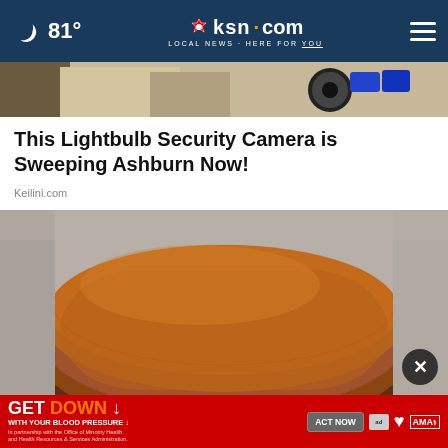81° ksn.com LOCAL NEWS · HERE FOR YOU
[Figure (photo): Partial top image of an outdoor scene, appears to be a security camera advertisement]
This Lightbulb Security Camera is Sweeping Ashburn Now!
Keilini.com
[Figure (photo): Close-up photo of brown ground spice (cinnamon or similar) in a wooden bowl on a gray surface]
GET DOWN WITH YOUR BLOOD PRESSURE In partnership with the Office of Minority Health and Health Resources & Services Administration. ACT NOW